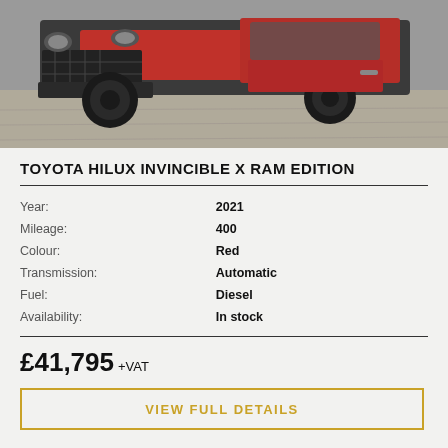[Figure (photo): Photo of a red Toyota Hilux Invincible X Ram Edition truck, front-side angle, parked on a concrete surface. Dark/black bumper and wheels visible.]
TOYOTA HILUX INVINCIBLE X RAM EDITION
| Label | Value |
| --- | --- |
| Year: | 2021 |
| Mileage: | 400 |
| Colour: | Red |
| Transmission: | Automatic |
| Fuel: | Diesel |
| Availability: | In stock |
£41,795 +VAT
VIEW FULL DETAILS